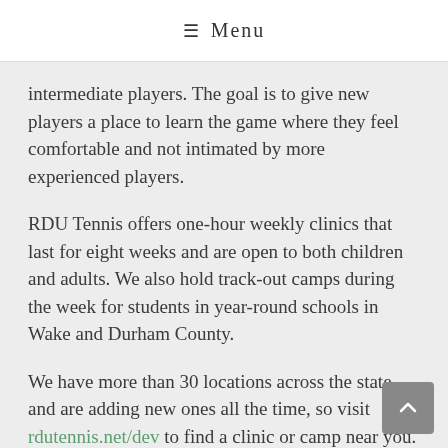≡ Menu
intermediate players. The goal is to give new players a place to learn the game where they feel comfortable and not intimated by more experienced players.
RDU Tennis offers one-hour weekly clinics that last for eight weeks and are open to both children and adults. We also hold track-out camps during the week for students in year-round schools in Wake and Durham County.
We have more than 30 locations across the state and are adding new ones all the time, so visit rdutennis.net/dev to find a clinic or camp near you. Camps and clinics start mid-March, but